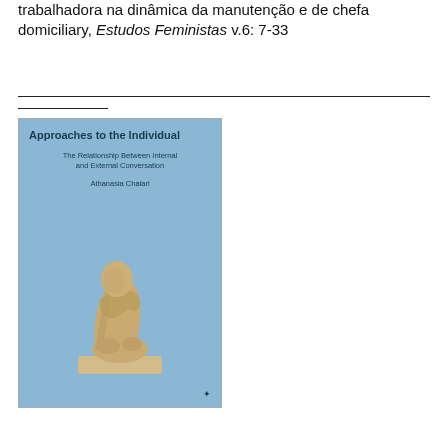trabalhadora na dinâmica da manutenção e de chefa domiciliary, Estudos Feministas v.6: 7-33
[Figure (photo): Book cover of 'Approaches to the Individual: The Relationship Between Internal and External Conversation' by Athanasia Chalari. Light blue cover with a beige/tan sculpture of a hunched figure, published by Palgrave Macmillan.]